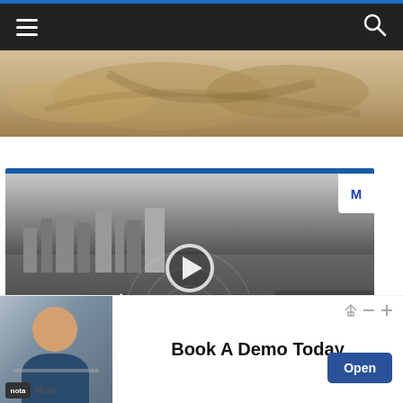Navigation bar with hamburger menu and search icon
[Figure (photo): Partial aerial view of sandy beach/dunes in sepia/tan tones]
[Figure (screenshot): Video player showing LBLN Long Beach Local News aerial city view in greyscale, with play button overlay]
[Figure (photo): Advertisement banner: Book A Demo Today - Nota, featuring a man in glasses at a desk, with an Open button]